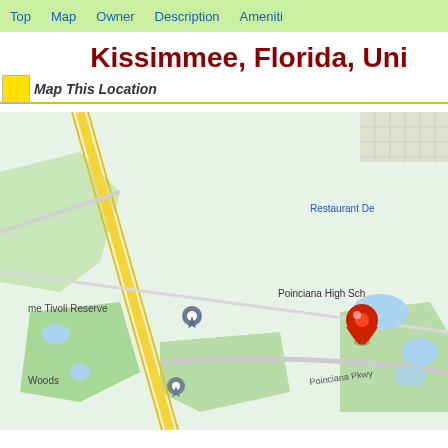Top  Map  Owner  Description  Amenities
Kissimmee, Florida, Uni
Map This Location
[Figure (map): Google Maps view showing Kissimmee, Florida area with Poinciana Pkwy, Poinciana High School, me Tivoli Reserve, Woods, Restaurant De labels visible. A red map pin marker is shown near Poinciana High School area. A blue/grey pin is shown at Tivoli Reserve area. Another grey pin is shown near Woods.]